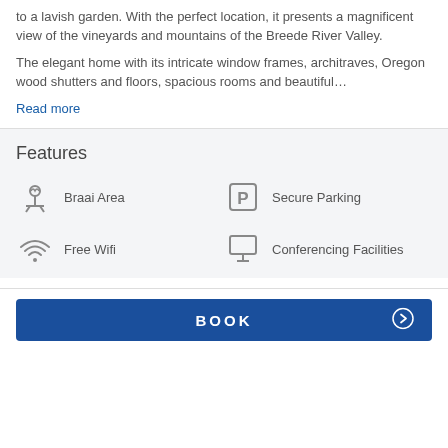to a lavish garden. With the perfect location, it presents a magnificent view of the vineyards and mountains of the Breede River Valley.
The elegant home with its intricate window frames, architraves, Oregon wood shutters and floors, spacious rooms and beautiful…
Read more
Features
Braai Area
Secure Parking
Free Wifi
Conferencing Facilities
BOOK